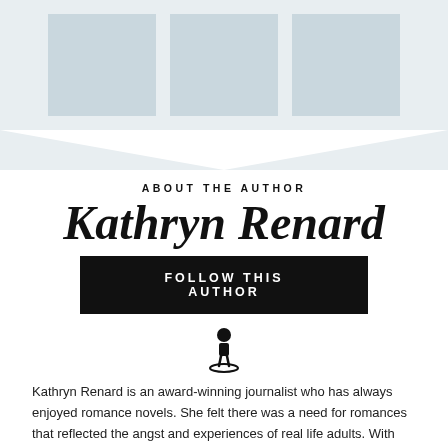[Figure (illustration): Three light blue-gray book cover thumbnail placeholders displayed side by side on a light gray background]
ABOUT THE AUTHOR
Kathryn Renard
FOLLOW THIS AUTHOR
[Figure (illustration): Small icon of a person/author silhouette standing on a circular platform]
Kathryn Renard is an award-winning journalist who has always enjoyed romance novels. She felt there was a need for romances that reflected the angst and experiences of real life adults. With this in